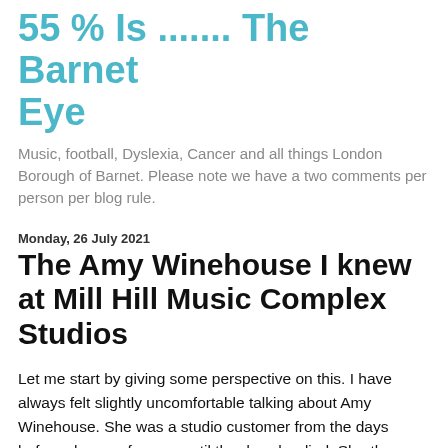55 % Is ....... The Barnet Eye
Music, football, Dyslexia, Cancer and all things London Borough of Barnet. Please note we have a two comments per person per blog rule.
Monday, 26 July 2021
The Amy Winehouse I knew at Mill Hill Music Complex Studios
Let me start by giving some perspective on this. I have always felt slightly uncomfortable talking about Amy Winehouse. She was a studio customer from the days before she was famous until the day she died. Shortly before she passed, she'd called about doing some recordings. She wanted to do something stripped back, without the big production, but primarily where she was in control and calling the shots. We were sworn to secrecy about the project (no big deal, many artists do this). The sessions were booked provisionally for September 2011. When Amy passed, I was